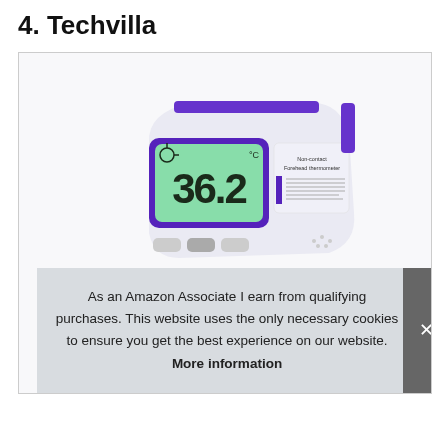4. Techvilla
[Figure (photo): A purple and white non-contact forehead infrared thermometer showing a temperature reading of 36.2 on its green LCD display, with buttons at the bottom and a label on the side reading 'Non-contact Forehead thermometer'.]
As an Amazon Associate I earn from qualifying purchases. This website uses the only necessary cookies to ensure you get the best experience on our website. More information